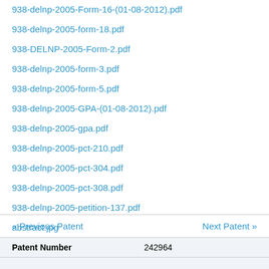938-delnp-2005-Form-16-(01-08-2012).pdf
938-delnp-2005-form-18.pdf
938-DELNP-2005-Form-2.pdf
938-delnp-2005-form-3.pdf
938-delnp-2005-form-5.pdf
938-delnp-2005-GPA-(01-08-2012).pdf
938-delnp-2005-gpa.pdf
938-delnp-2005-pct-210.pdf
938-delnp-2005-pct-304.pdf
938-delnp-2005-pct-308.pdf
938-delnp-2005-petition-137.pdf
abstract.jpg
« Previous Patent    Next Patent »
| Patent Number |  |
| --- | --- |
| Patent Number | 242964 |